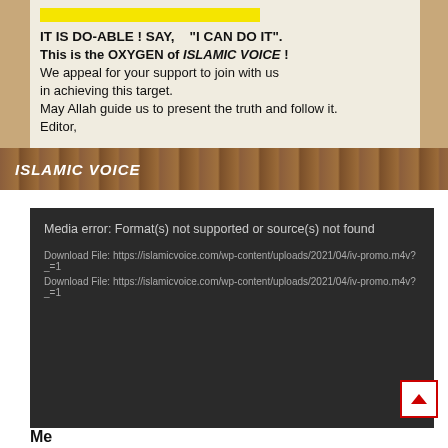[Figure (screenshot): Promotional image with cream panel over wood-texture background showing Islamic Voice editorial message]
IT IS DO-ABLE ! SAY,   "I CAN DO IT".
This is the OXYGEN of ISLAMIC VOICE !
We appeal for your support to join with us in achieving this target.
May Allah guide us to present the truth and follow it.
Editor,
ISLAMIC VOICE
[Figure (screenshot): Media player error box with dark background showing: Media error: Format(s) not supported or source(s) not found, and two Download File links to https://islamicvoice.com/wp-content/uploads/2021/04/iv-promo.m4v?_=1]
Meta